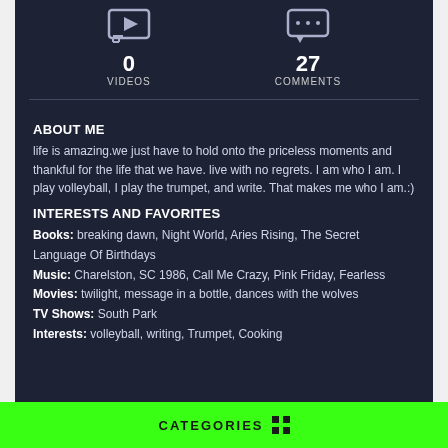[Figure (infographic): Stats row showing video icon with 0 VIDEOS and comment icon with 27 COMMENTS]
ABOUT ME
life is amazing.we just have to hold onto the priceless moments and thankful for the life that we have. live with no regrets. I am who I am. I play volleyball, I play the trumpet, and write. That makes me who I am.:)
INTERESTS AND FAVORITES
Books: breaking dawn, Night World, Aries Rising, The Secret Language Of Birthdays
Music: Charelston, SC 1986, Call Me Crazy, Pink Friday, Fearless
Movies: twilight, message in a bottle, dances with the wolves
TV Shows: South Park
Interests: volleyball, writing, Trumpet, Cooking
CATEGORIES